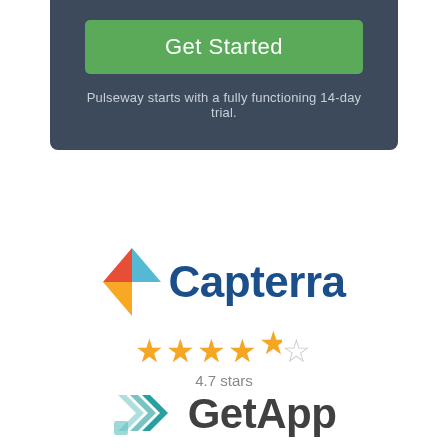[Figure (screenshot): Dark blue-grey rounded card with a green 'Get Started' button and trial text below]
Pulseway starts with a fully functioning 14-day trial.
[Figure (logo): Capterra logo with arrow icon in blue, orange, and red, with dark blue 'Capterra' text]
[Figure (infographic): 4.7 star rating shown as 4 filled orange stars, 1 half star, and '4.7 stars' label]
[Figure (logo): GetApp logo with teal arrow chevron icon and dark grey 'GetApp' text]